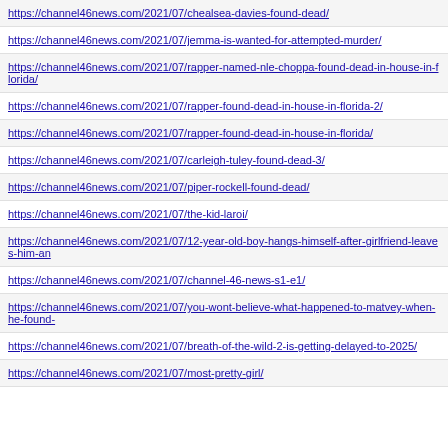https://channel46news.com/2021/07/chealsea-davies-found-dead/
https://channel46news.com/2021/07/jemma-is-wanted-for-attempted-murder/
https://channel46news.com/2021/07/rapper-named-nle-choppa-found-dead-in-house-in-florida/
https://channel46news.com/2021/07/rapper-found-dead-in-house-in-florida-2/
https://channel46news.com/2021/07/rapper-found-dead-in-house-in-florida/
https://channel46news.com/2021/07/carleigh-tuley-found-dead-3/
https://channel46news.com/2021/07/piper-rockell-found-dead/
https://channel46news.com/2021/07/the-kid-laroi/
https://channel46news.com/2021/07/12-year-old-boy-hangs-himself-after-girlfriend-leaves-him-an
https://channel46news.com/2021/07/channel-46-news-s1-e1/
https://channel46news.com/2021/07/you-wont-believe-what-happened-to-matvey-when-he-found-
https://channel46news.com/2021/07/breath-of-the-wild-2-is-getting-delayed-to-2025/
https://channel46news.com/2021/07/most-pretty-girl/